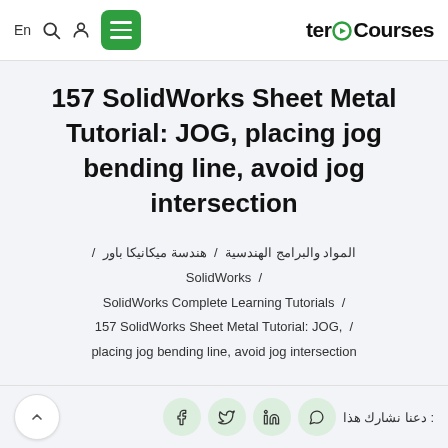En | [search icon] | [user icon] | [menu button] | teroCourses
157 SolidWorks Sheet Metal Tutorial: JOG, placing jog bending line, avoid jog intersection
المواد والبرامج الهندسية / هندسة ميكانيكا باور / SolidWorks / SolidWorks Complete Learning Tutorials / 157 SolidWorks Sheet Metal Tutorial: JOG, placing jog bending line, avoid jog intersection
دعنا نشارك هذا : [WhatsApp] [LinkedIn] [Twitter] [Facebook] | [back button]